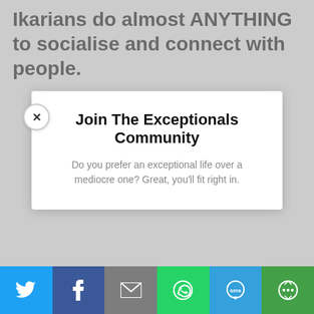Ikarians do almost ANYTHING to socialise and connect with people.
[Figure (screenshot): Modal popup overlay with close button (X), title 'Join The Exceptionals Community', subtitle text, name/email input fields, 'Let's Connect' button, and social sharing bar at the bottom with Twitter, Facebook, Email, WhatsApp, SMS, and More icons.]
Join The Exceptionals Community
Do you prefer an exceptional life over a mediocre one? Great, you'll fit right in.
Name
Email
Let's Connect